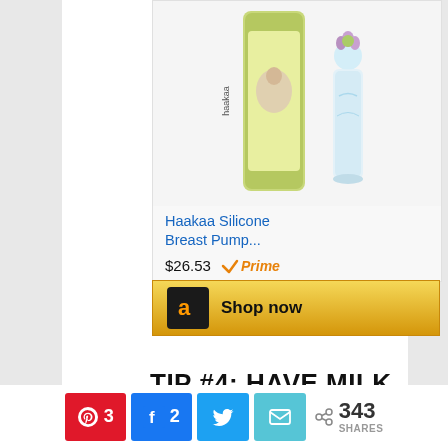[Figure (photo): Product image of Haakaa Silicone Breast Pump with packaging and a glass bottle with flower decoration]
Haakaa Silicone Breast Pump...
$26.53  ✓Prime
[Figure (other): Amazon Shop now button with Amazon logo on gold/yellow background]
TIP #4: HAVE MILK STORAGE
This website uses cookies to improve your experience. We'll assume you're ok with this, but you can opt-out if you wish.
Accept
3   2   343 SHARES